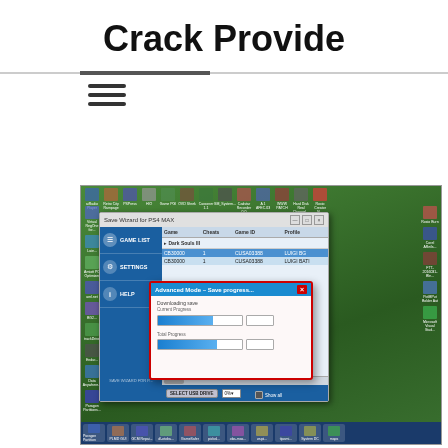Crack Provide
[Figure (screenshot): Screenshot of a Windows desktop showing the Save Wizard for PS4 MAX application with a GAME LIST sidebar, a game table showing Dark Souls III entries with columns for Game, Cheats, Game ID, and Profile, and an Advanced Mode - Save progress dialog box with progress bars for Downloading save and Current Progress and Total Progress indicators. The desktop shows various application icons and a taskbar at the bottom.]